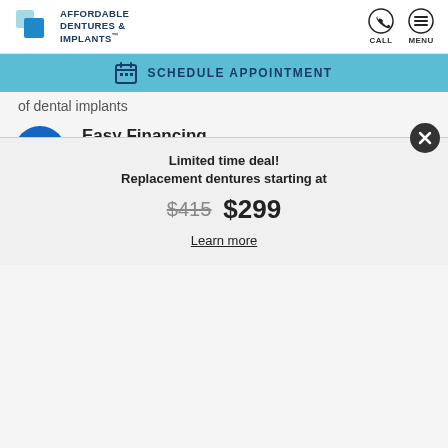AFFORDABLE DENTURES & IMPLANTS — CALL | MENU
SCHEDULE APPOINTMENT
of dental implants
Easy Financing
Variety of payment options to ensure the care you need is within reach
Free Consult
We offer your first visit at no charge
Limited time deal!
Replacement dentures starting at
$415  $299
Learn more